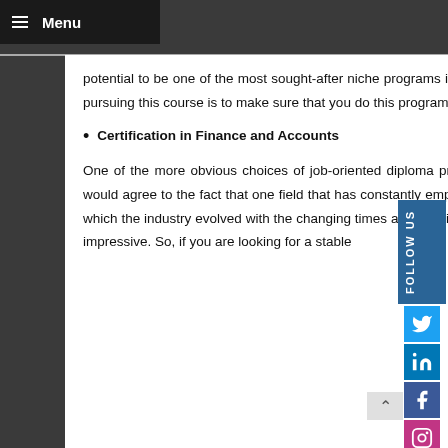Menu
potential to be one of the most sought-after niche programs in the coming years. The key to increase your success rate when pursuing this course is to make sure that you do this program from a reputed educational institution.
Certification in Finance and Accounts
One of the more obvious choices of job-oriented diploma programs is a certification course in finance and accounts. Many would agree to the fact that one field that has constantly employed people for many decades is the finance realm. The way in which the industry evolved with the changing times and how it uses technology to further improve its growth is nothing short of impressive. So, if you are looking for a stable